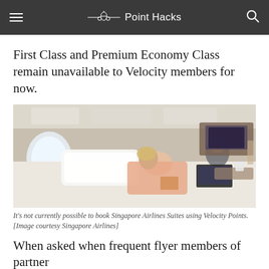Point Hacks
First Class and Premium Economy Class remain unavailable to Velocity members for now.
[Figure (photo): Two passengers relaxing in a Singapore Airlines Suite cabin — a woman reading a book reclined on a flat bed and a man using a laptop seated, with luxury interior surroundings]
It’s not currently possible to book Singapore Airlines Suites using Velocity Points. [Image courtesy Singapore Airlines]
When asked when frequent flyer members of partner